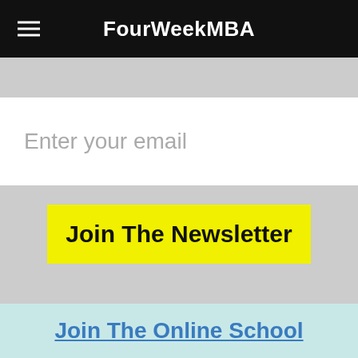FourWeekMBA
Enter your email
Join The Newsletter
Join The Online School